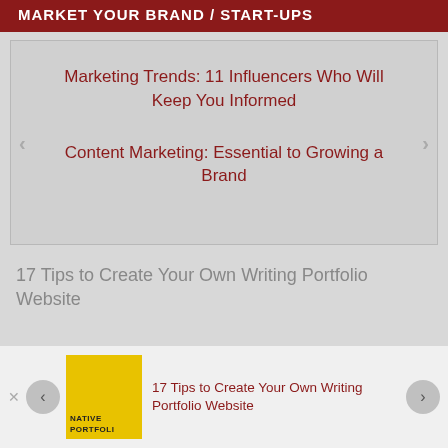MARKET YOUR BRAND / START-UPS
Marketing Trends: 11 Influencers Who Will Keep You Informed
Content Marketing: Essential to Growing a Brand
17 Tips to Create Your Own Writing Portfolio Website
[Figure (screenshot): Bottom popup bar showing thumbnail image with yellow background labeled 'native PORTFOLI', text '17 Tips to Create Your Own Writing Portfolio Website' in dark red, with left/right navigation arrows and a close (x) button]
17 Tips to Create Your Own Writing Portfolio Website